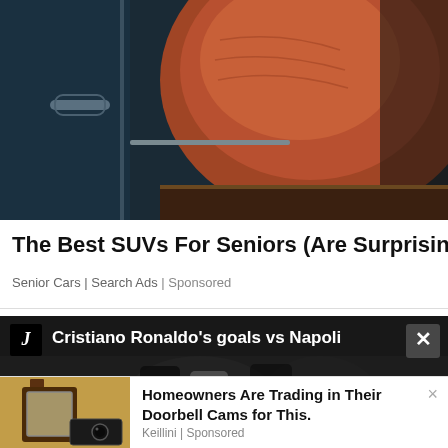[Figure (photo): Car interior showing brown leather seat and dark dashboard panel with handle]
The Best SUVs For Seniors (Are Surprisingly…
Senior Cars | Search Ads | Sponsored
[Figure (screenshot): Video player showing Cristiano Ronaldo's goals vs Napoli with Juventus logo and close button]
Homeowners Are Trading in Their Doorbell Cams for This. Keillini | Sponsored